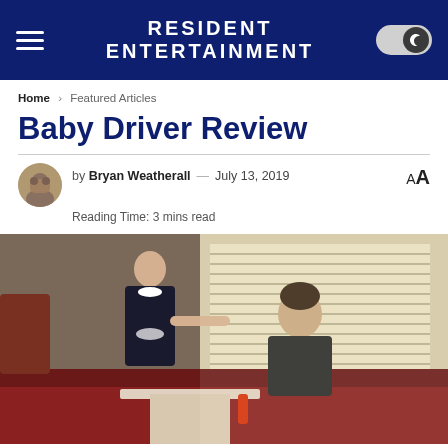RESIDENT ENTERTAINMENT
Home > Featured Articles
Baby Driver Review
by Bryan Weatherall — July 13, 2019
Reading Time: 3 mins read
[Figure (photo): Scene from Baby Driver showing a waitress in a diner uniform handing something to a young man seated in a red booth, with window blinds in the background.]